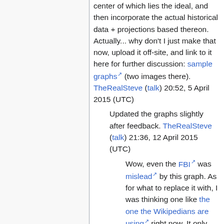center of which lies the ideal, and then incorporate the actual historical data + projections based thereon. Actually... why don't I just make that now, upload it off-site, and link to it here for further discussion: sample graphs (two images there). TheRealSteve (talk) 20:52, 5 April 2015 (UTC)
Updated the graphs slightly after feedback. TheRealSteve (talk) 21:36, 12 April 2015 (UTC)
Wow, even the FBI was mislead by this graph. As for what to replace it with, I was thinking one like the one the Wikipedians are using right now. It only shows accurate historical data, and for our cases should be quite